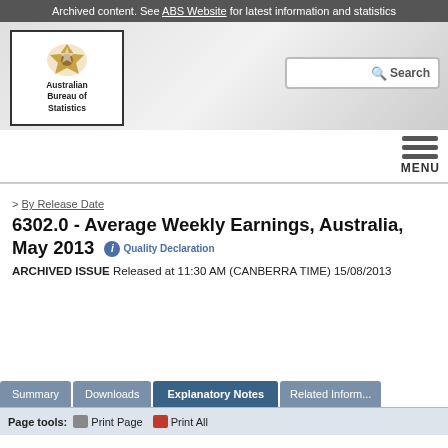Archived content. See ABS Website for latest information and statistics
[Figure (logo): Australian Bureau of Statistics logo — coat of arms crest above text 'Australian Bureau of Statistics' inside a bordered box]
By Release Date
6302.0 - Average Weekly Earnings, Australia, May 2013
Quality Declaration
ARCHIVED ISSUE Released at 11:30 AM (CANBERRA TIME) 15/08/2013
Page tools: Print Page  Print All